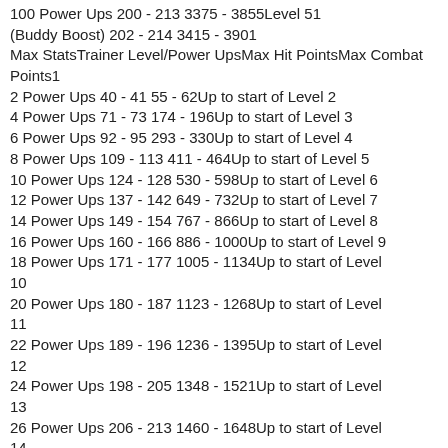100 Power Ups 200 - 213 3375 - 3855Level 51 (Buddy Boost) 202 - 214 3415 - 3901
Max StatsTrainer Level/Power UpsMax Hit PointsMax Combat Points1
2 Power Ups 40 - 41 55 - 62Up to start of Level 2
4 Power Ups 71 - 73 174 - 196Up to start of Level 3
6 Power Ups 92 - 95 293 - 330Up to start of Level 4
8 Power Ups 109 - 113 411 - 464Up to start of Level 5
10 Power Ups 124 - 128 530 - 598Up to start of Level 6
12 Power Ups 137 - 142 649 - 732Up to start of Level 7
14 Power Ups 149 - 154 767 - 866Up to start of Level 8
16 Power Ups 160 - 166 886 - 1000Up to start of Level 9
18 Power Ups 171 - 177 1005 - 1134Up to start of Level 10
20 Power Ups 180 - 187 1123 - 1268Up to start of Level 11
22 Power Ups 189 - 196 1236 - 1395Up to start of Level 12
24 Power Ups 198 - 205 1348 - 1521Up to start of Level 13
26 Power Ups 206 - 213 1460 - 1648Up to start of Level 14
28 Power Ups 213 - 221 1573 - 1775Up to start of Level 15
30 Power Ups 221 - 229 1685 - 1902Up to start of Level 16
32 Power Ups 228 - 236 1797 - 2028Up to start of Level 17
34 Power Ups 235 - 244 1910 - 2155Up to start of Level...